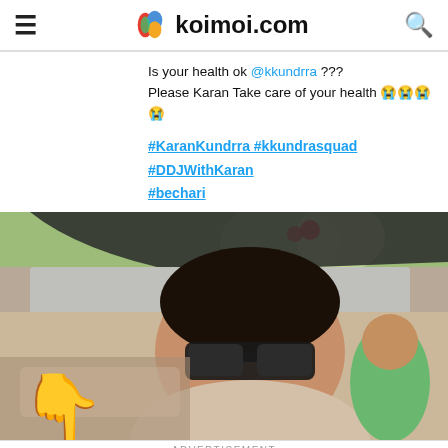koimoi.com
Is your health ok @kkundrra ??? Please Karan Take care of your health 😭😭😭😭
#KaranKundrra #kkundrasquad #DDJWithKaran #bechari
[Figure (photo): Man wearing sunglasses smiling inside a car, with a pointing hand emoji overlay and another person visible in the background]
ADVERTISEMENT
Ashburn OPEN 8AM–9PM 44175 Ashbrook Marketpla...